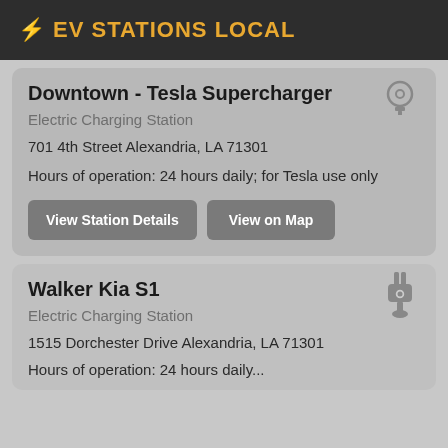⚡ EV STATIONS LOCAL
Downtown - Tesla Supercharger
Electric Charging Station
701 4th Street Alexandria, LA 71301
Hours of operation: 24 hours daily; for Tesla use only
View Station Details
View on Map
Walker Kia S1
Electric Charging Station
1515 Dorchester Drive Alexandria, LA 71301
Hours of operation: 24 hours daily...